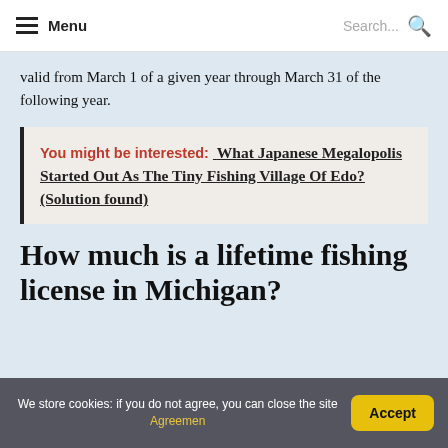Menu | Search...
valid from March 1 of a given year through March 31 of the following year.
You might be interested: What Japanese Megalopolis Started Out As The Tiny Fishing Village Of Edo? (Solution found)
How much is a lifetime fishing license in Michigan?
We store cookies: if you do not agree, you can close the site Agreemen